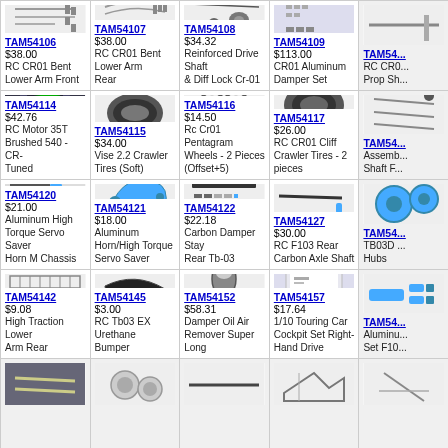[Figure (photo): RC CR01 Bent Lower Arm Front parts]
TAM54106 $38.00 RC CR01 Bent Lower Arm Front
[Figure (photo): RC CR01 Bent Lower Arm Rear parts]
TAM54107 $38.00 RC CR01 Bent Lower Arm Rear
[Figure (photo): Reinforced Drive Shaft & Diff Lock Cr-01]
TAM54108 $34.32 Reinforced Drive Shaft & Diff Lock Cr-01
[Figure (photo): CR01 Aluminum Damper Set]
TAM54109 $113.00 CR01 Aluminum Damper Set
[Figure (photo): RC CR01 Prop Sh... (partially visible)]
TAM54... RC CR0... Prop Sh...
[Figure (photo): RC Motor 35T Brushed 540 CR-Tuned]
TAM54114 $42.76 RC Motor 35T Brushed 540 - CR-Tuned
[Figure (photo): Vise 2.2 Crawler Tires (Soft)]
TAM54115 $34.00 Vise 2.2 Crawler Tires (Soft)
[Figure (photo): Rc Cr01 Pentagram Wheels 2 Pieces (Offset+5)]
TAM54116 $14.50 Rc Cr01 Pentagram Wheels - 2 Pieces (Offset+5)
[Figure (photo): RC CR01 Cliff Crawler Tires 2 pieces]
TAM54117 $26.00 RC CR01 Cliff Crawler Tires - 2 pieces
[Figure (photo): Assembly Shaft F... (partial)]
TAM54... Assemb... Shaft F...
[Figure (photo): Aluminum High Torque Servo Saver Horn M Chassis]
TAM54120 $21.00 Aluminum High Torque Servo Saver Horn M Chassis
[Figure (photo): Aluminum Horn/High Torque Servo Saver]
TAM54121 $18.00 Aluminum Horn/High Torque Servo Saver
[Figure (photo): Carbon Damper Stay Rear Tb-03]
TAM54122 $22.18 Carbon Damper Stay Rear Tb-03
[Figure (photo): RC F103 Rear Carbon Axle Shaft]
TAM54127 $30.00 RC F103 Rear Carbon Axle Shaft
[Figure (photo): TB03D ... Hubs (partial)]
TAM54... TB03D ... Hubs
[Figure (photo): High Traction Lower Arm Rear]
TAM54142 $9.08 High Traction Lower Arm Rear
[Figure (photo): RC Tb03 EX Urethane Bumper]
TAM54145 $3.00 RC Tb03 EX Urethane Bumper
[Figure (photo): Damper Oil Air Remover Super Long]
TAM54152 $58.31 Damper Oil Air Remover Super Long
[Figure (photo): 1/10 Touring Car Cockpit Set Right-Hand Drive]
TAM54157 $17.64 1/10 Touring Car Cockpit Set Right-Hand Drive
[Figure (photo): Aluminum ... Set F10... (partial)]
TAM54... Aluminu... Set F10...
[Figure (photo): Bottom row item 1 (partial)]
[Figure (photo): Bottom row item 2 (partial)]
[Figure (photo): Bottom row item 3 (partial)]
[Figure (photo): Bottom row item 4 (partial)]
[Figure (photo): Bottom row item 5 (partial)]